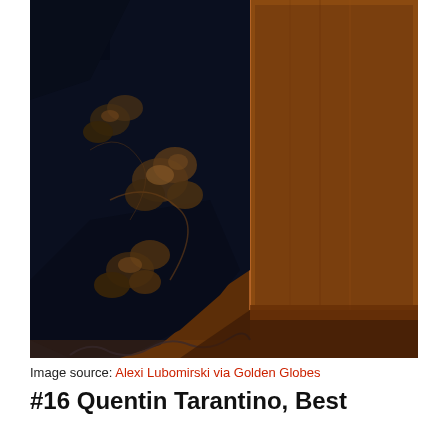[Figure (photo): Close-up photograph of a dark navy blue gown with metallic floral/lace pattern pooling on a warm brown floor, with a large wooden block/plinth visible on the right side. The image is dramatically lit, emphasizing the dark fabric against the warm brown background.]
Image source: Alexi Lubomirski via Golden Globes
#16 Quentin Tarantino, Best